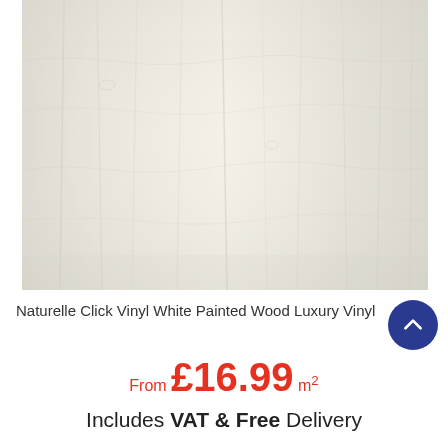[Figure (photo): Close-up photo of white painted wood luxury vinyl flooring with light grey-beige wood grain texture]
Naturelle Click Vinyl White Painted Wood Luxury Vinyl
From £16.99 m²
Includes VAT & Free Delivery